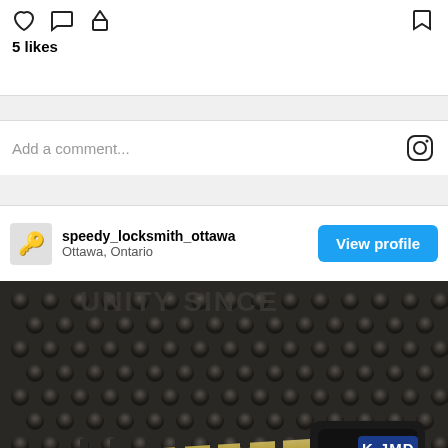5 likes
Add a comment...
speedy_locksmith_ottawa
Ottawa, Ontario
View profile
[Figure (photo): Close-up photo of a key with K-JMD label on a rubber mat surface, with a green phone call button overlay in the bottom right corner]
By Call Now Button